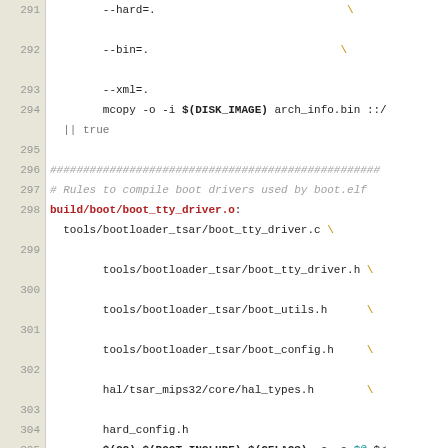Source code / Makefile showing build rules for boot drivers (lines 291-310)